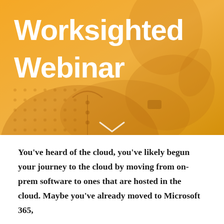[Figure (photo): Hero image with orange/amber color overlay showing a person in a dotted shirt making a hand gesture, with large white bold text 'Worksighted Webinar' overlaid on the left side, and a white chevron/down-arrow at the bottom center]
Worksighted Webinar
You've heard of the cloud, you've likely begun your journey to the cloud by moving from on-prem software to ones that are hosted in the cloud. Maybe you've already moved to Microsoft 365,